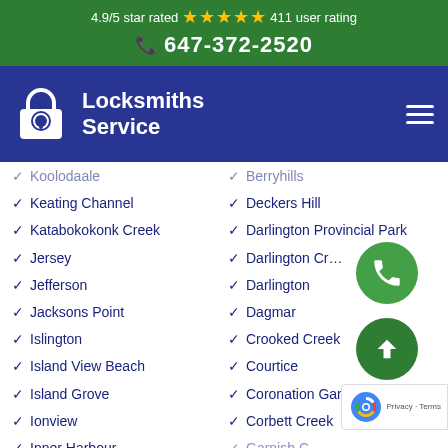4.9/5 star rated ★★★★★ 411 user rating
📞 647-372-2520
[Figure (logo): Locksmiths Service logo with padlock icon on dark blue background with hamburger menu]
Koolodaale
Berryhills
Keating Channel
Deckers Hill
Katabokokonk Creek
Darlington Provincial Park
Jersey
Darlington Creek
Jefferson
Darlington
Jacksons Point
Dagmar
Islington
Crooked Creek
Island View Beach
Courtice
Island Grove
Coronation Gardens
Ionview
Corbett Creek
Inner Harbour
Garnish Cove (partial)
Indians Road (partial)